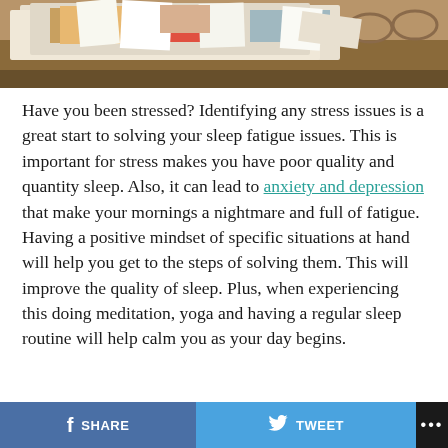[Figure (photo): Photo of a messy pile of papers, folders, documents and glasses on a desk, suggesting stress and disorganization.]
Have you been stressed? Identifying any stress issues is a great start to solving your sleep fatigue issues. This is important for stress makes you have poor quality and quantity sleep. Also, it can lead to anxiety and depression that make your mornings a nightmare and full of fatigue.  Having a positive mindset of specific situations at hand will help you get to the steps of solving them. This will improve the quality of sleep. Plus, when experiencing this doing meditation, yoga and having a regular sleep routine will help calm you as your day begins.
SHARE   TWEET   ...